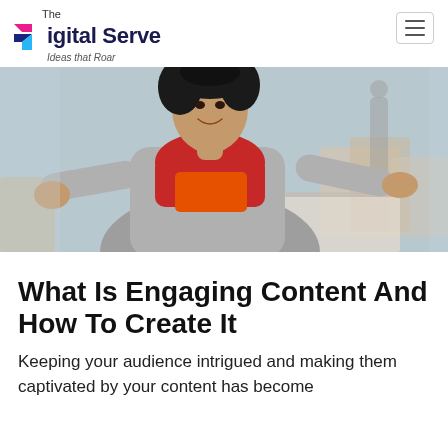The Digital Serve — Ideas that Roar
[Figure (photo): A smiling woman with curly hair wearing a grey coat and red scarf, arms outstretched in a café setting with chairs and a blurred background.]
What Is Engaging Content And How To Create It
Keeping your audience intrigued and making them captivated by your content has become